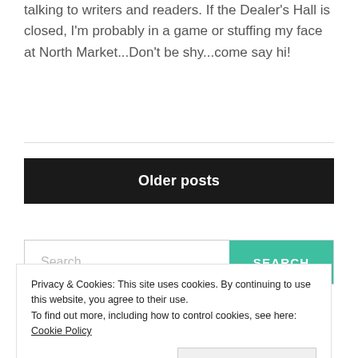talking to writers and readers. If the Dealer's Hall is closed, I'm probably in a game or stuffing my face at North Market...Don't be shy...come say hi!
Older posts
Search ...
Privacy & Cookies: This site uses cookies. By continuing to use this website, you agree to their use.
To find out more, including how to control cookies, see here: Cookie Policy
Close and accept